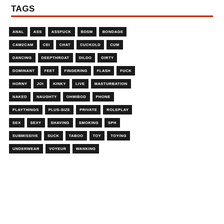TAGS
ANAL
ASS
ASSFUCK
BDSM
BONDAGE
CAM2CAM
CEI
CHAT
CUCKOLD
CUM
DANCING
DEEPTHROAT
DILDO
DIRTY
DOMINANT
FEET
FINGERING
FLASH
FUCK
HORNY
JOI
KINKY
LIVE
MASTURBATION
NAKED
NAUGHTY
OHMIBOD
PHONE
PLAYTHINGS
PLUS-SIZE
PRIVATE
ROLEPLAY
SEX
SEXY
SHAVING
SMOKING
SPH
SUBMISSIVE
SUCK
TABOO
TOY
TOYING
UNDERWEAR
VOYEUR
WANKING